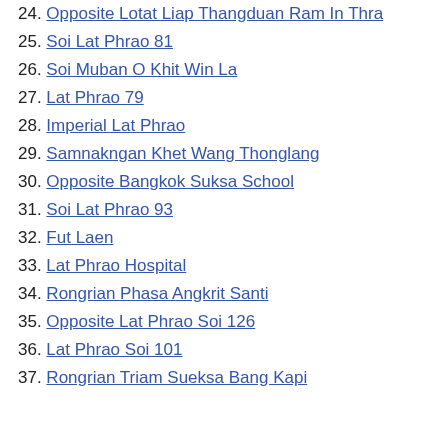24. Opposite Lotat Liap Thangduan Ram In Thra
25. Soi Lat Phrao 81
26. Soi Muban O Khit Win La
27. Lat Phrao 79
28. Imperial Lat Phrao
29. Samnakngan Khet Wang Thonglang
30. Opposite Bangkok Suksa School
31. Soi Lat Phrao 93
32. Fut Laen
33. Lat Phrao Hospital
34. Rongrian Phasa Angkrit Santi
35. Opposite Lat Phrao Soi 126
36. Lat Phrao Soi 101
37. Rongrian Triam Sueksa Bang Kapi